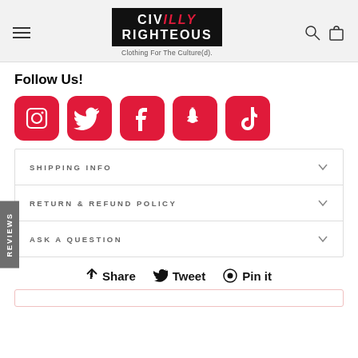[Figure (logo): Civilly Righteous logo with hamburger menu, search and bag icons in header]
Follow Us!
[Figure (infographic): Five social media icons: Instagram, Twitter, Facebook, Snapchat, TikTok in red/crimson rounded squares]
REVIEWS (vertical tab)
SHIPPING INFO
RETURN & REFUND POLICY
ASK A QUESTION
Share  Tweet  Pin it